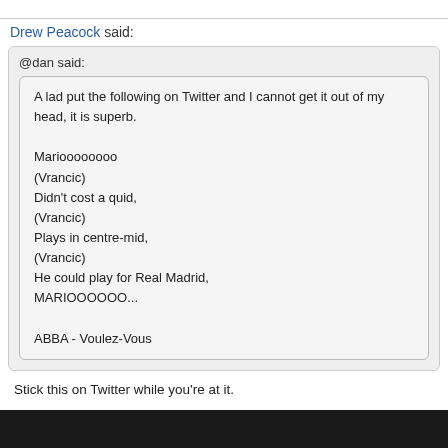Drew Peacock said:
@dan said:
A lad put the following on Twitter and I cannot get it out of my head, it is superb.

Marioooooooo
(Vrancic)
Didn't cost a quid,
(Vrancic)
Plays in centre-mid,
(Vrancic)
He could play for Real Madrid,
MARIOOOOOO...

ABBA - Voulez-Vous
Stick this on Twitter while you're at it.

There he was just a-walkin' down the street,
Singin' "Do wah diddy diddy dum diddy do"
Snappin' his fingers and shufflin' his feet,
Singin' "Do wah diddy diddy dum diddy do"